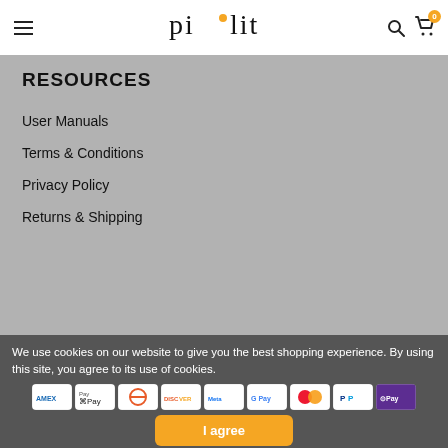pi·lit (navigation header with menu, search, and cart icons)
RESOURCES
User Manuals
Terms & Conditions
Privacy Policy
Returns & Shipping
We use cookies on our website to give you the best shopping experience. By using this site, you agree to its use of cookies.
[Figure (other): Payment method icons: AMEX, Apple Pay, Diners Club, Discover, Meta Pay, Google Pay, Mastercard, PayPal, Samsung Pay]
I agree